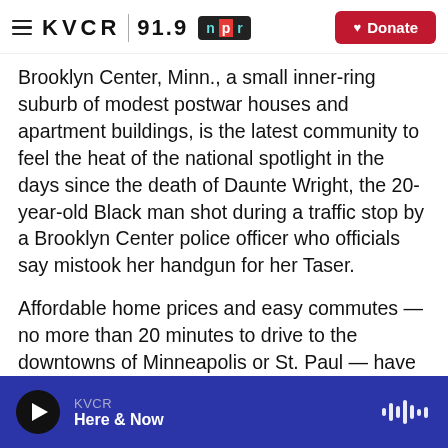KVCR 91.9 NPR | Donate
Brooklyn Center, Minn., a small inner-ring suburb of modest postwar houses and apartment buildings, is the latest community to feel the heat of the national spotlight in the days since the death of Daunte Wright, the 20-year-old Black man shot during a traffic stop by a Brooklyn Center police officer who officials say mistook her handgun for her Taser.
Affordable home prices and easy commutes — no more than 20 minutes to drive to the downtowns of Minneapolis or St. Paul — have long made Brooklyn Center attractive to middle-class families.
KVCR | Here & Now